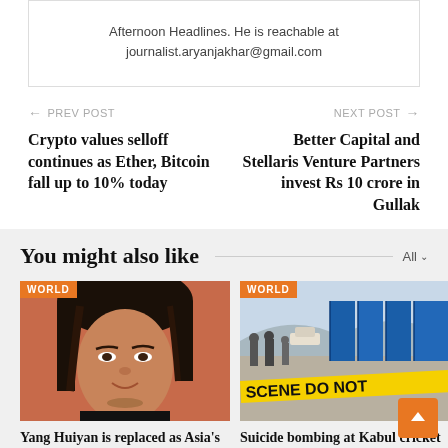Afternoon Headlines. He is reachable at journalist.aryanjakhar@gmail.com
← PREV POST
Crypto values selloff continues as Ether, Bitcoin fall up to 10% today
NEXT POST →
Better Capital and Stellaris Venture Partners invest Rs 10 crore in Gullak
You might also like
[Figure (photo): Portrait photo of Yang Huiyan, an Asian woman with dark hair]
WORLD
Yang Huiyan is replaced as Asia's
[Figure (photo): Crime scene photo with yellow tape reading SCENE DO NOT, with blue fencing in background]
WORLD
Suicide bombing at Kabul cricket stadium